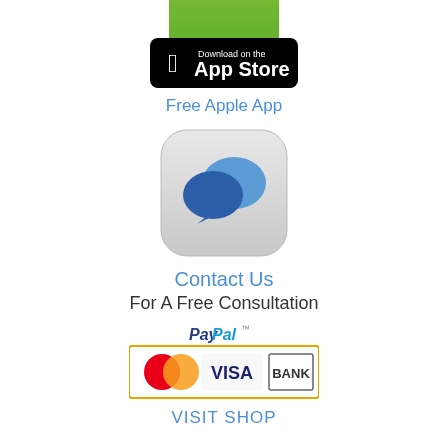[Figure (screenshot): Partial green app icon at top]
[Figure (logo): Download on the App Store badge (black background, Apple logo)]
Free Apple App
[Figure (illustration): Chat/messaging app icon with two blue speech bubbles on a light grey rounded square background]
Contact Us
For A Free Consultation
[Figure (logo): PayPal accepted payments logo showing MasterCard, VISA, and BANK payment options with orange border]
VISIT SHOP